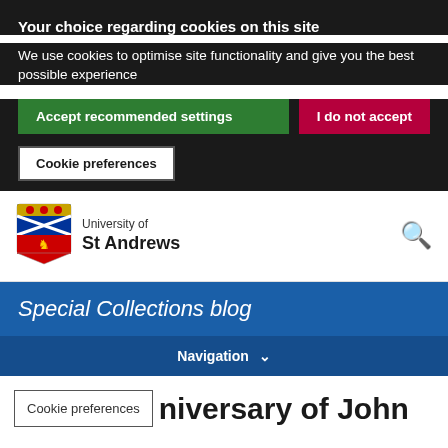Your choice regarding cookies on this site
We use cookies to optimise site functionality and give you the best possible experience
Accept recommended settings
I do not accept
Cookie preferences
[Figure (logo): University of St Andrews coat of arms crest]
University of St Andrews
Special Collections blog
Navigation
Cookie preferences
niversary of John